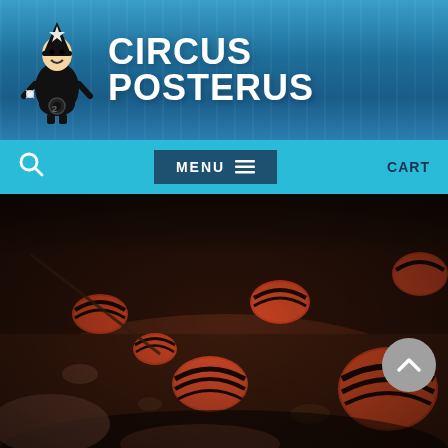CIRCUS POSTERUS
[Figure (logo): Circus Posterus logo with illustrated character in black rocket suit and site name in bold white uppercase text on blue striped banner background]
[Figure (photo): Close-up photograph of orange and dark-striped round beetles or pill bugs on rocky brown gravel ground]
A self-proclaimed hermit an’ proud, Krueger used to collect corkscrews and yo-yos (‘cause those go hand-in-hand). But now that she’s famous, her tastes have evolved to hoarding